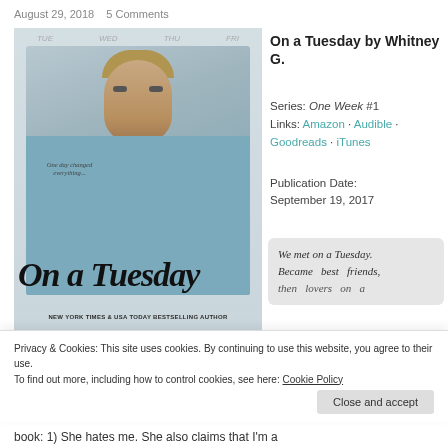August 29, 2018   5 Comments
[Figure (photo): Book cover for 'On a Tuesday' by Whitney G. — features a man with styled hair wearing a blue v-neck shirt, seated against a calendar background. Title text overlaid in large italic script. Bottom reads NEW YORK TIMES & USA TODAY BESTSELLING AUTHOR / WHITNEY G.]
On a Tuesday by Whitney G.
Series: One Week #1
Links: Amazon · Audible · Goodreads · iTunes
Publication Date: September 19, 2017
We met on a Tuesday. Became best friends, then lovers, on a
Privacy & Cookies: This site uses cookies. By continuing to use this website, you agree to their use.
To find out more, including how to control cookies, see here: Cookie Policy
Close and accept
book: 1) She hates me. She also claims that I'm a